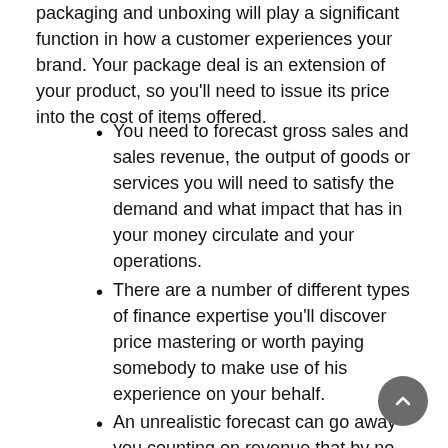packaging and unboxing will play a significant function in how a customer experiences your brand. Your package deal is an extension of your product, so you'll need to issue its price into the cost of items offered.
You need to forecast gross sales and sales revenue, the output of goods or services you will need to satisfy the demand and what impact that has in your money circulate and your operations.
There are a number of different types of finance expertise you'll discover price mastering or worth paying somebody to make use of his experience on your behalf.
An unrealistic forecast can go away you counting on revenue that by no means materializes.
Good business finance requires practical sales and budget projections.
When you forecast future sales income, it's easy to be optimistic, especially if gross sales